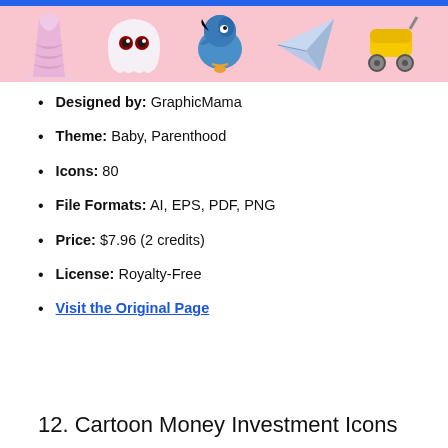[Figure (illustration): Banner strip with cartoon baby/parenthood icons on pink background: a ruffled dress, a ghost/monster face, a blue bird, a paper airplane, and a yellow baby carriage, with a blue bar at top.]
Designed by: GraphicMama
Theme: Baby, Parenthood
Icons: 80
File Formats: AI, EPS, PDF, PNG
Price: $7.96 (2 credits)
License: Royalty-Free
Visit the Original Page
12. Cartoon Money Investment Icons